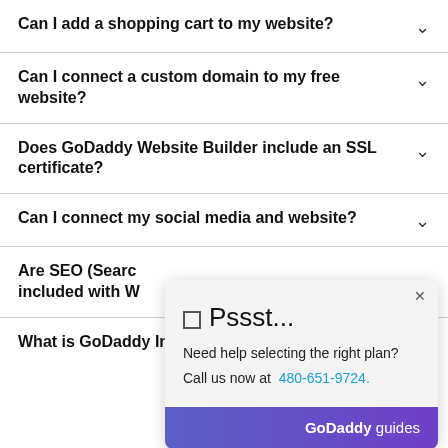Can I add a shopping cart to my website?
Can I connect a custom domain to my free website?
Does GoDaddy Website Builder include an SSL certificate?
Can I connect my social media and website?
Are SEO (Search...) included with W...
[Figure (screenshot): Popup widget showing 'Pssst...' with text 'Need help selecting the right plan? Call us now at 480-651-9724.' and a GoDaddy guides footer with gradient background.]
What is GoDaddy InSight?